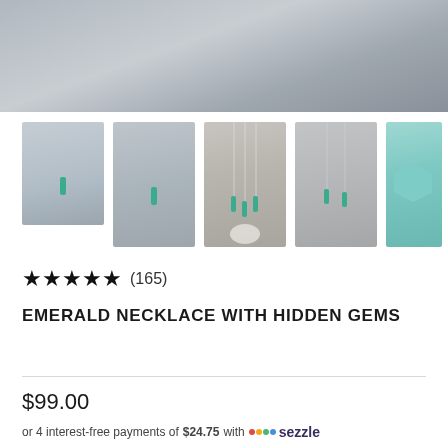[Figure (photo): Main product photo showing emerald necklace with hidden gems, misty/grey background]
[Figure (photo): Row of 5 thumbnail images of emerald necklace product from different angles/arrangements]
★★★★★ (165)
EMERALD NECKLACE WITH HIDDEN GEMS
$99.00
or 4 interest-free payments of $24.75 with 🔮 sezzle